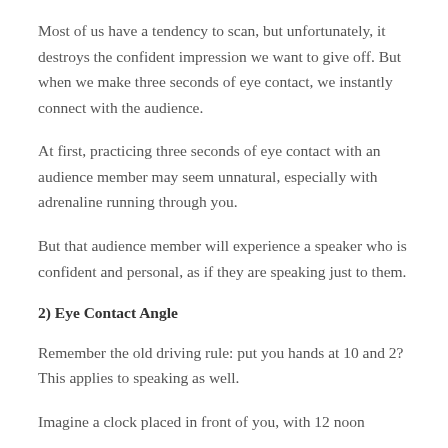Most of us have a tendency to scan, but unfortunately, it destroys the confident impression we want to give off. But when we make three seconds of eye contact, we instantly connect with the audience.
At first, practicing three seconds of eye contact with an audience member may seem unnatural, especially with adrenaline running through you.
But that audience member will experience a speaker who is confident and personal, as if they are speaking just to them.
2) Eye Contact Angle
Remember the old driving rule: put you hands at 10 and 2? This applies to speaking as well.
Imagine a clock placed in front of you, with 12 noon